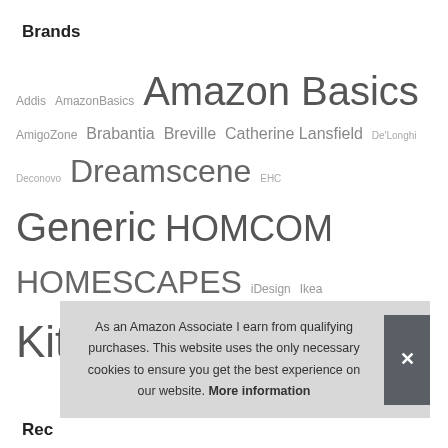Brands
[Figure (infographic): Word cloud of brand names in varying font sizes and shades of grey. Brands include: Addis, AmazonBasics, Amazon Basics, AmigoZone, Brabantia, Breville, Catherine Lansfield, De'Longhi, Deconovo, Dreamscene, EHC, Generic, HOMCOM, HOMESCAPES, iDesign, Ikea, KitchenCraft, kuou, LAKELAND, Maison & White, MasterClass, mDesign, Morphy Richards, N/A, NA, Panana, Premier Housewares, Rapport, Rohi, Russell Hobbs, Sapphire Collection, Silentnight, Silverline, Sleepdown, SONGMICS, Spares2go, Swan, Tefal, Tower, UMI, Utopia Bedding, VASAGLE, ViceVersa (partially visible), Yaheetech (partially visible)]
As an Amazon Associate I earn from qualifying purchases. This website uses the only necessary cookies to ensure you get the best experience on our website. More information
Rec